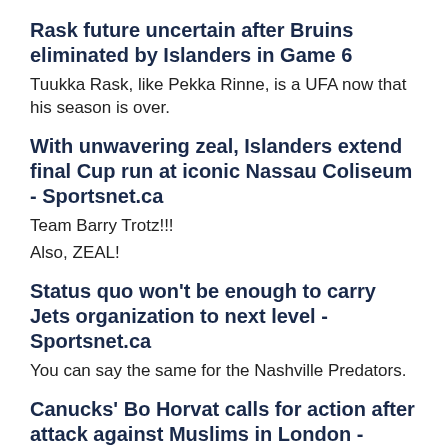Rask future uncertain after Bruins eliminated by Islanders in Game 6
Tuukka Rask, like Pekka Rinne, is a UFA now that his season is over.
With unwavering zeal, Islanders extend final Cup run at iconic Nassau Coliseum - Sportsnet.ca
Team Barry Trotz!!!
Also, ZEAL!
Status quo won't be enough to carry Jets organization to next level - Sportsnet.ca
You can say the same for the Nashville Predators.
Canucks' Bo Horvat calls for action after attack against Muslims in London - Sportsnet.ca
In the wake of a deadly anti-Islamic attack in Bo